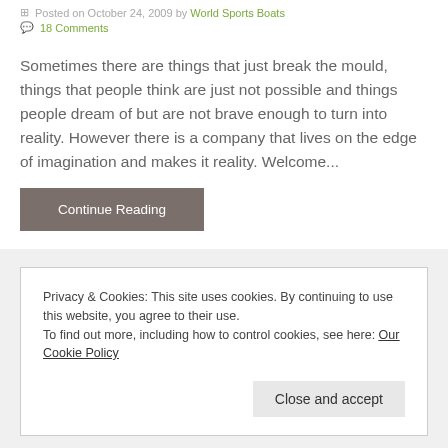Posted on October 24, 2009 by World Sports Boats
18 Comments
Sometimes there are things that just break the mould, things that people think are just not possible and things people dream of but are not brave enough to turn into reality. However there is a company that lives on the edge of imagination and makes it reality. Welcome...
Continue Reading
Privacy & Cookies: This site uses cookies. By continuing to use this website, you agree to their use.
To find out more, including how to control cookies, see here: Our Cookie Policy
Close and accept